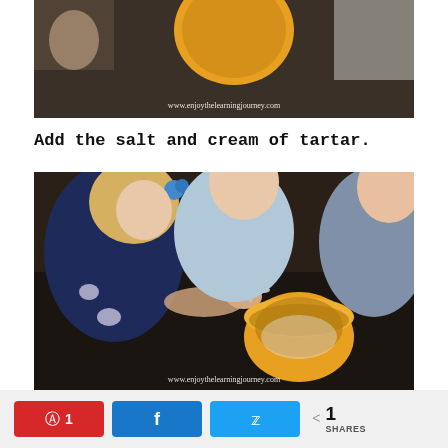[Figure (photo): Children adding ingredients to a yellow bowl, cropped top portion showing a yellow bowl from above with a website watermark reading www.enjoythelearningjourney.com]
Add the salt and cream of tartar.
[Figure (photo): Three children leaning over a yellow bowl on a dark counter. A girl with a blue flower hair clip holds a spoon over the bowl, while two other children watch. Website watermark reads www.enjoythelearningjourney.com]
A Pin 1  f  Twitter  < 1 SHARES